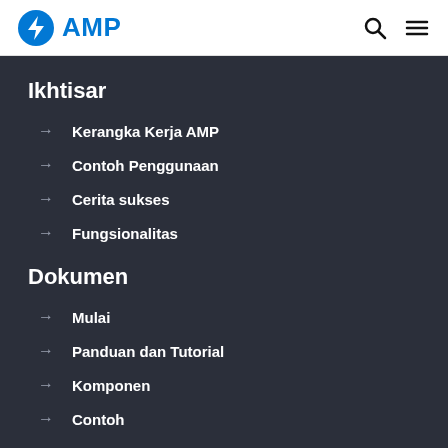AMP
Ikhtisar
Kerangka Kerja AMP
Contoh Penggunaan
Cerita sukses
Fungsionalitas
Dokumen
Mulai
Panduan dan Tutorial
Komponen
Contoh
Templat Desain
Alat